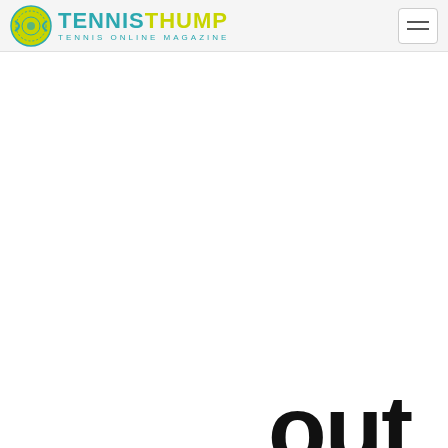TENNIS THUMP — TENNIS ONLINE MAGAZINE
[Figure (screenshot): Large blank white content area, likely an advertisement or image placeholder]
Search for
01. Tennis Racquets For Sale
02. Tennis Elbow Strap
Yahoo! Search | Sponsored